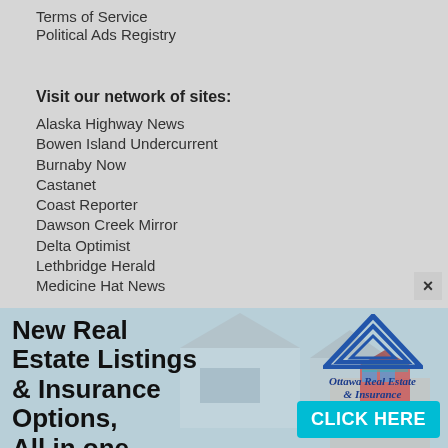Terms of Service
Political Ads Registry
Visit our network of sites:
Alaska Highway News
Bowen Island Undercurrent
Burnaby Now
Castanet
Coast Reporter
Dawson Creek Mirror
Delta Optimist
Lethbridge Herald
Medicine Hat News
[Figure (infographic): Advertisement banner for Ottawa Real Estate & Insurance showing bold text 'New Real Estate Listings & Insurance Options, All in one place' on the left, a triangular house logo and Ottawa Real Estate & Insurance Since 1910 logo on the upper right, a background photo of houses and a hand holding a miniature house, and a cyan CLICK HERE button on the lower right.]